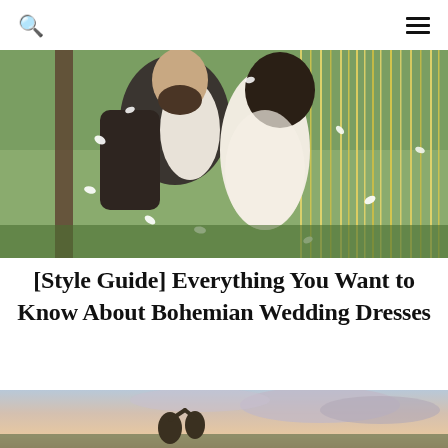search menu
[Figure (photo): A bride and groom kissing under hanging yellow ribbon streamers with flower petals falling around them at an outdoor wedding venue]
[Style Guide] Everything You Want to Know About Bohemian Wedding Dresses
[Figure (photo): A couple dancing at sunset with dramatic cloudy sky in the background, partially visible at bottom of page]